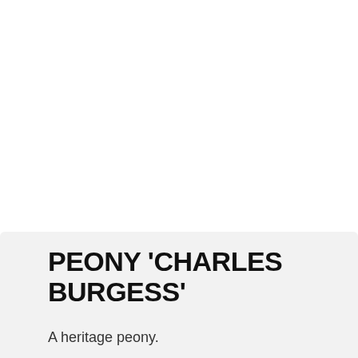PEONY 'CHARLES BURGESS'
A heritage peony.